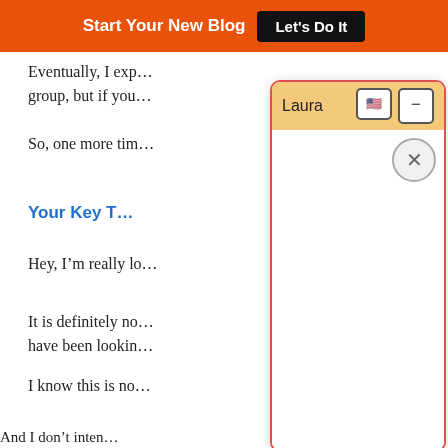Start Your New Blog  Let's Do It
Eventually, I exp… group, but if you…
So, one more tim…
Your Key T…
Hey, I’m really lo…
It is definitely no… have been lookin…
I know this is no…
And I don’t inten… since it’s not som…
If you’d still like to learn more about it, I’ll be giving some very…
[Figure (screenshot): Chat popup widget with orange header labeled 'Laura', two control buttons (flag, minus), a close X button, and empty white chat area. Red border around the popup.]
Powered By Steady Stream Leads